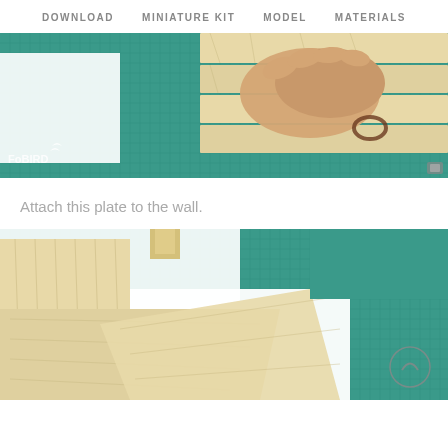DOWNLOAD   MINIATURE KIT   MODEL   MATERIALS
[Figure (photo): A hand placing or holding a wooden plank panel on a teal cutting mat, with balsa wood strips and boards visible. FoBIRD watermark in bottom-left corner.]
Attach this plate to the wall.
[Figure (photo): A miniature wooden room model being assembled on a teal cutting mat, showing wood-paneled walls and floor pieces laid on white surface. A circular back-to-top arrow button visible in bottom-right.]